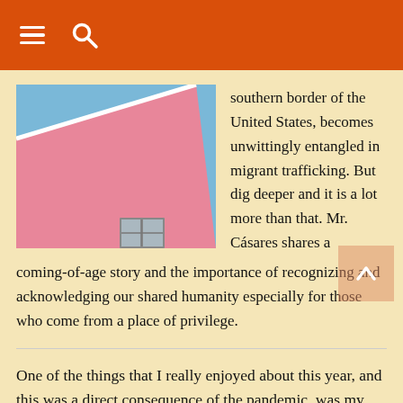≡ 🔍
[Figure (photo): Pink building corner against blue sky, with a small window visible]
southern border of the United States, becomes unwittingly entangled in migrant trafficking. But dig deeper and it is a lot more than that. Mr. Cásares shares a coming-of-age story and the importance of recognizing and acknowledging our shared humanity especially for those who come from a place of privilege.
One of the things that I really enjoyed about this year, and this was a direct consequence of the pandemic, was my ability to attend more literary events than I have ever done in my entire career. I got to listen to some of my favorite